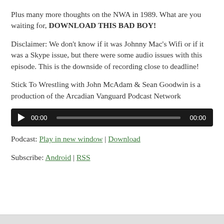Plus many more thoughts on the NWA in 1989. What are you waiting for, DOWNLOAD THIS BAD BOY!
Disclaimer: We don't know if it was Johnny Mac's Wifi or if it was a Skype issue, but there were some audio issues with this episode. This is the downside of recording close to deadline!
Stick To Wrestling with John McAdam & Sean Goodwin is a production of the Arcadian Vanguard Podcast Network
[Figure (other): Audio player widget with play button, time display showing 00:00, progress bar, and end time 00:00 on dark background]
Podcast: Play in new window | Download
Subscribe: Android | RSS